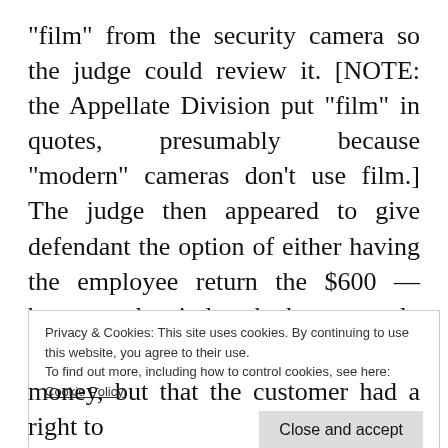"film" from the security camera so the judge could review it. [NOTE: the Appellate Division put "film" in quotes, presumably because "modern" cameras don't use film.] The judge then appeared to give defendant the option of either having the employee return the $600 — because the judge had apparently already concluded that the employee took it — or bring in the security camera. When defendant again tried to
Privacy & Cookies: This site uses cookies. By continuing to use this website, you agree to their use.
To find out more, including how to control cookies, see here:
Cookie Policy
[Close and accept]
money, but that the customer had a right to